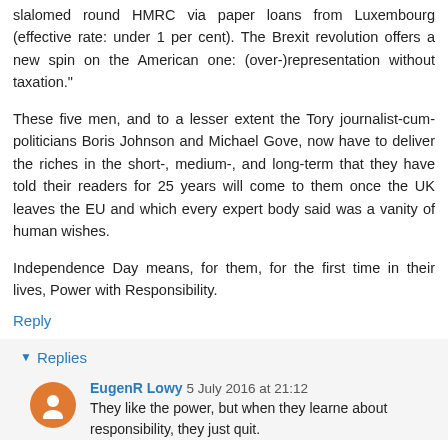slalomed round HMRC via paper loans from Luxembourg (effective rate: under 1 per cent). The Brexit revolution offers a new spin on the American one: (over-)representation without taxation."
These five men, and to a lesser extent the Tory journalist-cum-politicians Boris Johnson and Michael Gove, now have to deliver the riches in the short-, medium-, and long-term that they have told their readers for 25 years will come to them once the UK leaves the EU and which every expert body said was a vanity of human wishes.
Independence Day means, for them, for the first time in their lives, Power with Responsibility.
Reply
▾ Replies
EugenR Lowy 5 July 2016 at 21:12
They like the power, but when they learne about responsibility, they just quit.